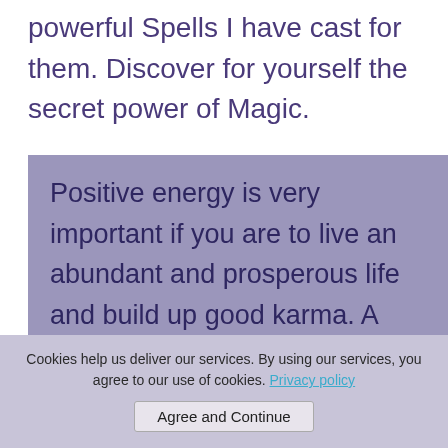powerful Spells I have cast for them. Discover for yourself the secret power of Magic.
Positive energy is very important if you are to live an abundant and prosperous life and build up good karma. A great way to do this is by undertaking some charity work.
If you are an Aquarius
Cookies help us deliver our services. By using our services, you agree to our use of cookies. Privacy policy
Agree and Continue